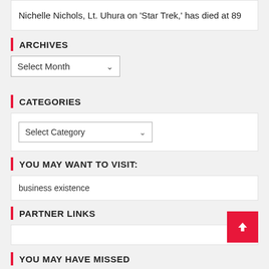Nichelle Nichols, Lt. Uhura on ‘Star Trek,’ has died at 89
ARCHIVES
Select Month
CATEGORIES
Select Category
YOU MAY WANT TO VISIT:
business existence
PARTNER LINKS
YOU MAY HAVE MISSED